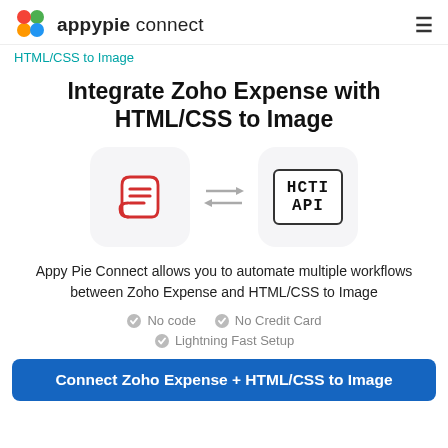appypie connect
HTML/CSS to Image
Integrate Zoho Expense with HTML/CSS to Image
[Figure (illustration): Two integration icons: Zoho Expense (red scroll/receipt icon) and HTML/CSS to Image (HCTI API box icon) connected by bidirectional arrows]
Appy Pie Connect allows you to automate multiple workflows between Zoho Expense and HTML/CSS to Image
No code
No Credit Card
Lightning Fast Setup
Connect Zoho Expense + HTML/CSS to Image